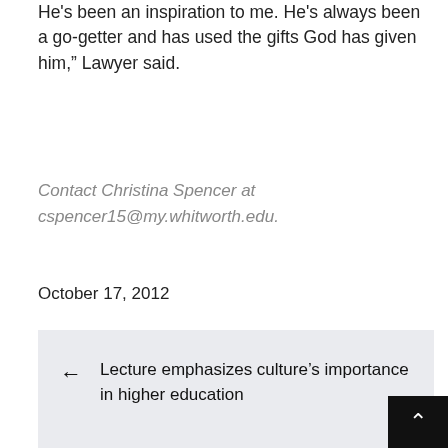He's been an inspiration to me. He's always been a go-getter and has used the gifts God has given him," Lawyer said.
Contact Christina Spencer at cspencer15@my.whitworth.edu.
October 17, 2012
← Lecture emphasizes culture's importance in higher education
Whitworth stays in NWC title contention →